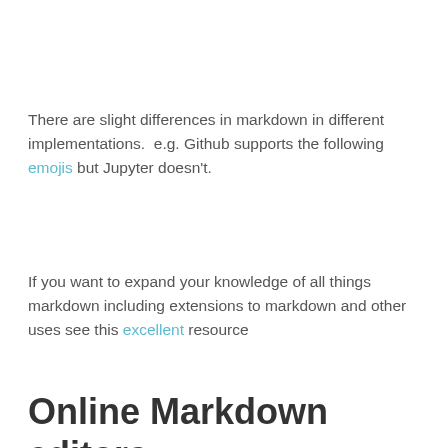There are slight differences in markdown in different implementations.  e.g. Github supports the following emojis but Jupyter doesn't.
If you want to expand your knowledge of all things markdown including extensions to markdown and other uses see this excellent resource
Online Markdown editors